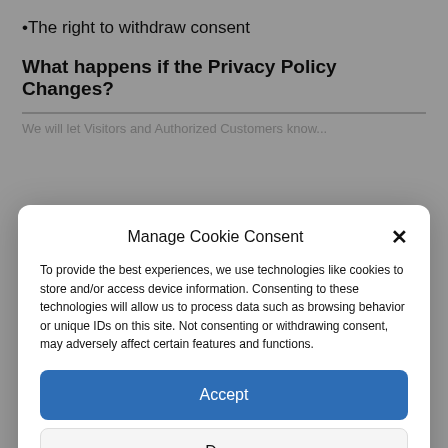The right to withdraw consent
What happens if the Privacy Policy Changes?
We will let Visitors and Authorized Customers know...
Manage Cookie Consent
To provide the best experiences, we use technologies like cookies to store and/or access device information. Consenting to these technologies will allow us to process data such as browsing behavior or unique IDs on this site. Not consenting or withdrawing consent, may adversely affect certain features and functions.
Accept
Deny
View preferences
Cookie Policy   Privacy Policy